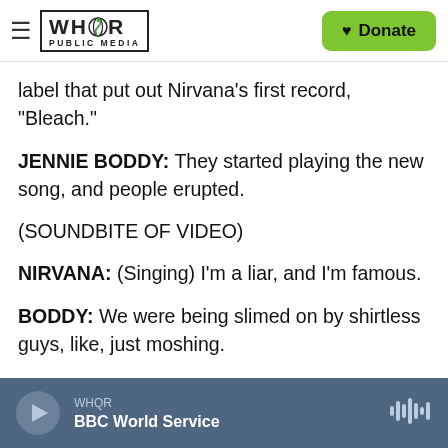WHQR PUBLIC MEDIA | Donate
label that put out Nirvana's first record, "Bleach."
JENNIE BODDY: They started playing the new song, and people erupted.
(SOUNDBITE OF VIDEO)
NIRVANA: (Singing) I'm a liar, and I'm famous.
BODDY: We were being slimed on by shirtless guys, like, just moshing.
(SOUNDBITE OF VIDEO)
WHQR BBC World Service